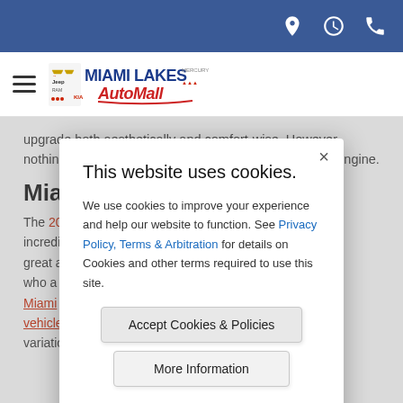Miami Lakes AutoMall website header with navigation icons (location, clock, phone) on blue bar, hamburger menu and logo below
upgrade both aesthetically and comfort-wise. However, nothing compares to the car's new and efficient diesel engine.
Mia
The 20... ce, incredib... a great a... hose who a... k at Miami... et vehicles... es and variatio...
[Figure (screenshot): Cookie consent modal dialog on Miami Lakes AutoMall website. Title: 'This website uses cookies.' Body: 'We use cookies to improve your experience and help our website to function. See Privacy Policy, Terms & Arbitration for details on Cookies and other terms required to use this site.' Two buttons: 'Accept Cookies & Policies' and 'More Information'. Footer link: 'Privacy Policy'.]